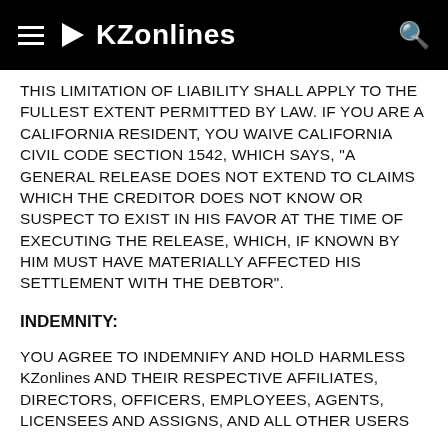KZonlines
THIS LIMITATION OF LIABILITY SHALL APPLY TO THE FULLEST EXTENT PERMITTED BY LAW. IF YOU ARE A CALIFORNIA RESIDENT, YOU WAIVE CALIFORNIA CIVIL CODE SECTION 1542, WHICH SAYS, "A GENERAL RELEASE DOES NOT EXTEND TO CLAIMS WHICH THE CREDITOR DOES NOT KNOW OR SUSPECT TO EXIST IN HIS FAVOR AT THE TIME OF EXECUTING THE RELEASE, WHICH, IF KNOWN BY HIM MUST HAVE MATERIALLY AFFECTED HIS SETTLEMENT WITH THE DEBTOR".
INDEMNITY:
YOU AGREE TO INDEMNIFY AND HOLD HARMLESS KZonlines AND THEIR RESPECTIVE AFFILIATES, DIRECTORS, OFFICERS, EMPLOYEES, AGENTS, LICENSEES AND ASSIGNS, AND ALL OTHER USERS